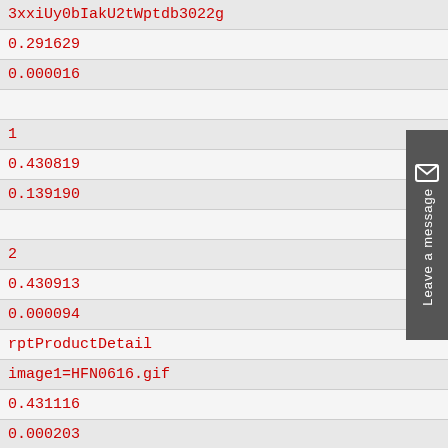| 3xxiUy0bIakU2tWptdb3022g |
| 0.291629 |
| 0.000016 |
|  |
| 1 |
| 0.430819 |
| 0.139190 |
|  |
| 2 |
| 0.430913 |
| 0.000094 |
| rptProductDetail |
| image1=HFN0616.gif |
| 0.431116 |
| 0.000203 |
| GetAlsoBoughtProductsDR ERROR |
| 1.110220 |